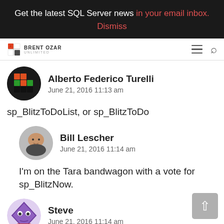Get the latest SQL Server news in your email inbox. Dismiss
[Figure (logo): Brent Ozar Unlimited logo with navigation icons]
Alberto Federico Turelli
June 21, 2016 11:13 am
sp_BlitzToDoList, or sp_BlitzToDo
Bill Lescher
June 21, 2016 11:14 am
I'm on the Tara bandwagon with a vote for sp_BlitzNow.
Steve
June 21, 2016 11:14 am